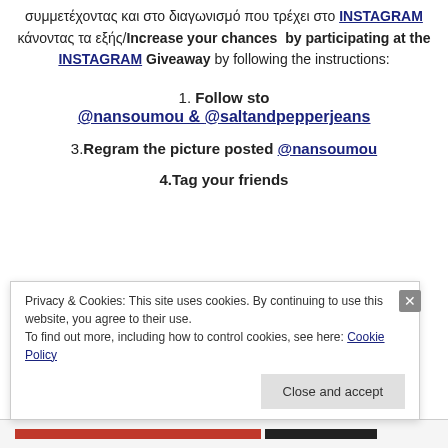συμμετέχοντας και στο διαγωνισμό που τρέχει στο INSTAGRAM κάνοντας τα εξής/Increase your chances by participating at the INSTAGRAM Giveaway by following the instructions:
1. Follow sto
@nansoumou & @saltandpepperjeans
3.Regram the picture posted @nansoumou
4.Tag your friends
Privacy & Cookies: This site uses cookies. By continuing to use this website, you agree to their use. To find out more, including how to control cookies, see here: Cookie Policy